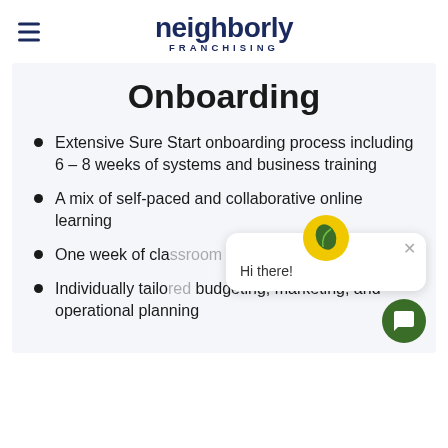[Figure (logo): Neighborly Franchising logo with hamburger menu icon]
Onboarding
Extensive Sure Start onboarding process including 6 – 8 weeks of systems and business training
A mix of self-paced and collaborative online learning
One week of classroom training building…
Individually tailored budgeting, marketing, and operational planning
[Figure (screenshot): Chat widget popup with leaf icon and 'Hi there!' greeting text, with close X button]